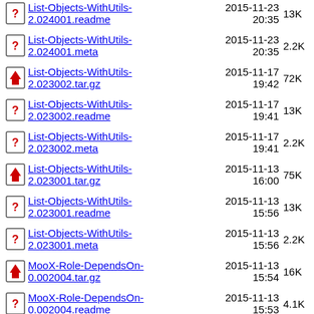List-Objects-WithUtils-2.024001.readme  2015-11-23 20:35  13K
List-Objects-WithUtils-2.024001.meta  2015-11-23 20:35  2.2K
List-Objects-WithUtils-2.023002.tar.gz  2015-11-17 19:42  72K
List-Objects-WithUtils-2.023002.readme  2015-11-17 19:41  13K
List-Objects-WithUtils-2.023002.meta  2015-11-17 19:41  2.2K
List-Objects-WithUtils-2.023001.tar.gz  2015-11-13 16:00  75K
List-Objects-WithUtils-2.023001.readme  2015-11-13 15:56  13K
List-Objects-WithUtils-2.023001.meta  2015-11-13 15:56  2.2K
MooX-Role-DependsOn-0.002004.tar.gz  2015-11-13 15:54  16K
MooX-Role-DependsOn-0.002004.readme  2015-11-13 15:53  4.1K
MooX-Role-DependsOn-0.002004.meta  2015-11-13 15:53  1.6K
App-vaporcalc-  2015-11-07  40K